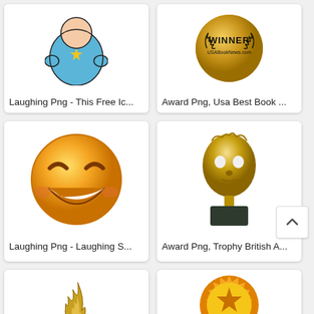[Figure (illustration): Laughing PNG - a cartoon character in blue with a yellow star on chest, seen from behind/top]
Laughing Png - This Free Ic...
[Figure (illustration): Award PNG - gold circular winner medal with laurel wreath, text WINNER USABookNews.com]
Award Png, Usa Best Book ...
[Figure (illustration): Laughing PNG - large orange laughing smiley face emoji with squinting eyes and big smile]
Laughing Png - Laughing S...
[Figure (illustration): Award PNG - gold BAFTA trophy, a golden mask face on a black base]
Award Png, Trophy British A...
[Figure (illustration): Gold flame-like award trophy illustration, transparent background]
[Figure (illustration): Award PNG - orange and gold sunburst/seal badge with a star in center]